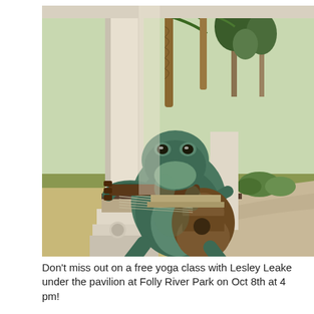[Figure (photo): A bronze/verdigris sculpture of a large frog sitting against a white pavilion column, playing an acoustic guitar. The park setting shows palm trees and other trees in the background with a paved pathway. The sculpture is life-sized or larger, with detailed frog features and webbed feet visible.]
Don't miss out on a free yoga class with Lesley Leake under the pavilion at Folly River Park on Oct 8th at 4 pm!